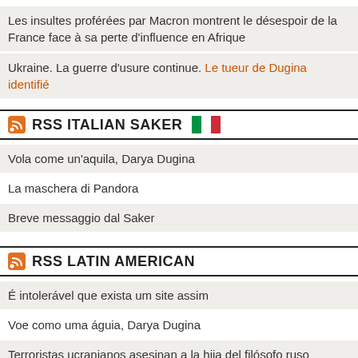Les insultes proférées par Macron montrent le désespoir de la France face à sa perte d'influence en Afrique
Ukraine. La guerre d'usure continue. Le tueur de Dugina identifié
RSS ITALIAN SAKER
Vola come un'aquila, Darya Dugina
La maschera di Pandora
Breve messaggio dal Saker
RSS LATIN AMERICAN
É intolerável que exista um site assim
Voe como uma águia, Darya Dugina
Terroristas ucranianos asesinan a la hija del filósofo ruso Alexander Dugin